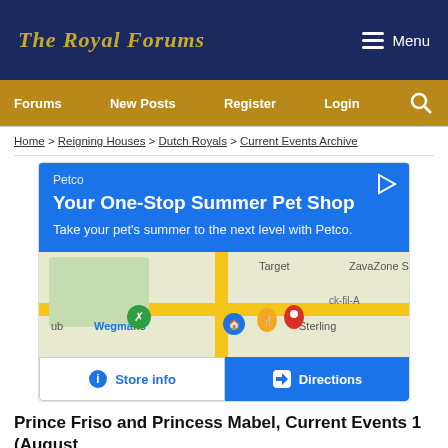The Royal Forums
Forums   New Posts   Register   Login
Home > Reigning Houses > Dutch Royals > Current Events Archive
[Figure (other): Petco advertisement showing 'Your One-Stop Summer Pet Shop' with a map showing Wegmans, Target, Chick-fil-A and Sterling area locations, with Store info and Directions buttons]
Prince Friso and Princess Mabel, Current Events 1 (August